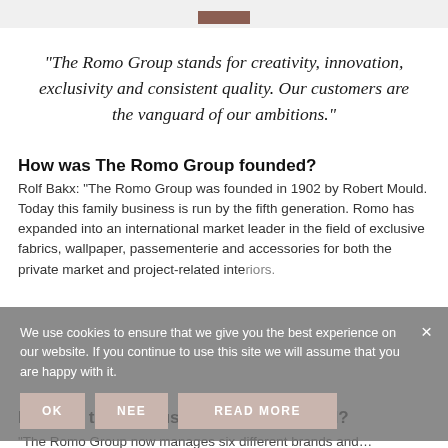[Figure (other): Top bar with partial logo/image visible, brown rectangular element centered]
“The Romo Group stands for creativity, innovation, exclusivity and consistent quality. Our customers are the vanguard of our ambitions.”
How was The Romo Group founded?
Rolf Bakx: “The Romo Group was founded in 1902 by Robert Mould. Today this family business is run by the fifth generation. Romo has expanded into an international market leader in the field of exclusive fabrics, wallpaper, passementerie and accessories for both the private market and project-related interiors.
[Figure (other): Cookie consent overlay with grey background, message text, close X button, and three buttons: OK, NEE, READ MORE]
How are the various collections created?
“The Romo Group now manages six different brands and…